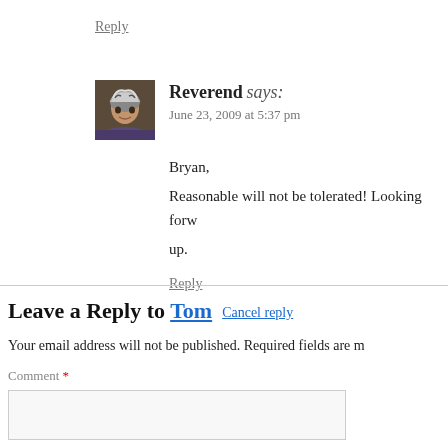Reply
Reverend says: June 23, 2009 at 5:37 pm
Bryan,
Reasonable will not be tolerated! Looking forw up.
Reply
Leave a Reply to Tom Cancel reply
Your email address will not be published. Required fields are m
Comment *